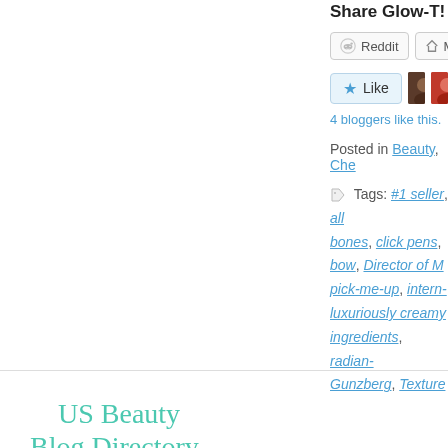Share Glow-T!
Reddit | More
Like | 4 bloggers like this.
Posted in Beauty, Che...
Tags: #1 seller, all..., bones, click pens, ..., bow, Director of M..., pick-me-up, intern..., luxuriously creamy..., ingredients, radian..., Gunzberg, Texture...
[Figure (illustration): Handwritten teal text reading 'US Beauty Blog Directory']